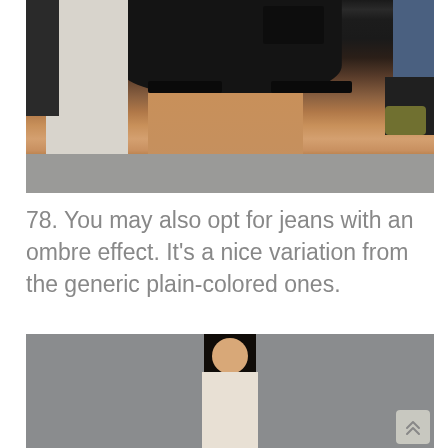[Figure (photo): Close-up photograph of a person wearing black denim cut-off shorts/jorts, cropped at mid-thigh. Street scene background with other people visible.]
78. You may also opt for jeans with an ombre effect. It’s a nice variation from the generic plain-colored ones.
[Figure (photo): Photograph of a young woman with long dark hair standing against a grey wall, wearing a light-colored top. A scroll-to-top button is visible at bottom right.]